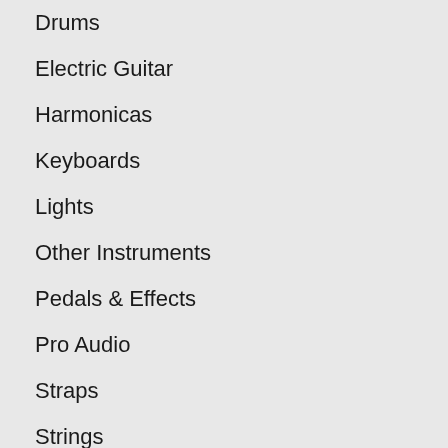Drums
Electric Guitar
Harmonicas
Keyboards
Lights
Other Instruments
Pedals & Effects
Pro Audio
Straps
Strings
RESOURCES
About Us
Band Rentals
Contact Us